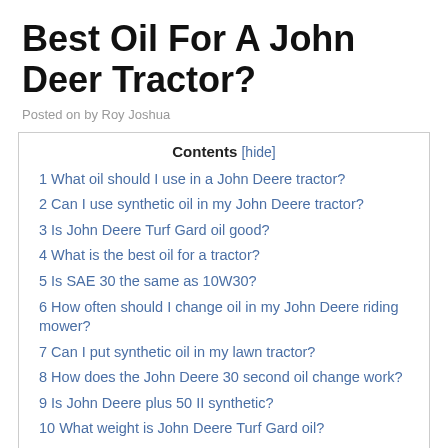Best Oil For A John Deer Tractor?
Posted on by Roy Joshua
| Contents [hide] |
| --- |
| 1 What oil should I use in a John Deere tractor? |
| 2 Can I use synthetic oil in my John Deere tractor? |
| 3 Is John Deere Turf Gard oil good? |
| 4 What is the best oil for a tractor? |
| 5 Is SAE 30 the same as 10W30? |
| 6 How often should I change oil in my John Deere riding mower? |
| 7 Can I put synthetic oil in my lawn tractor? |
| 8 How does the John Deere 30 second oil change work? |
| 9 Is John Deere plus 50 II synthetic? |
| 10 What weight is John Deere Turf Gard oil? |
| 11 What kind of oil is John Deere Turf Gard? |